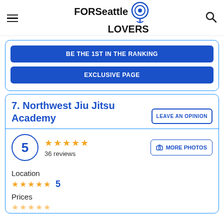FOR Seattle LOVERS
BE THE 1ST IN THE RANKING
EXCLUSIVE PAGE
7. Northwest Jiu Jitsu Academy
LEAVE AN OPINION
5  36 reviews  MORE PHOTOS
Location  ★★★★★  5
Prices